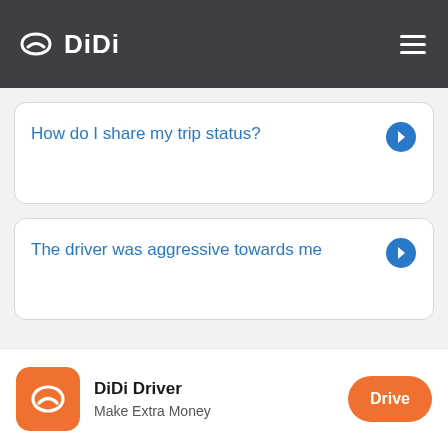DiDi
How do I share my trip status?
The driver was aggressive towards me
DiDi Driver
Make Extra Money